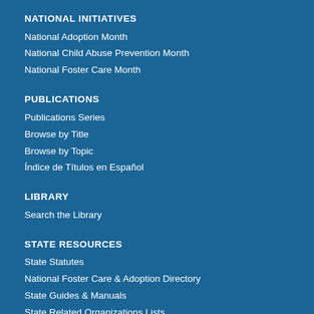NATIONAL INITIATIVES
National Adoption Month
National Child Abuse Prevention Month
National Foster Care Month
PUBLICATIONS
Publications Series
Browse by Title
Browse by Topic
Índice de Títulos en Español
LIBRARY
Search the Library
STATE RESOURCES
State Statutes
National Foster Care & Adoption Directory
State Guides & Manuals
State Related Organizations Lists
Adoption Assistance by State
MORE TOOLS & RESOURCES